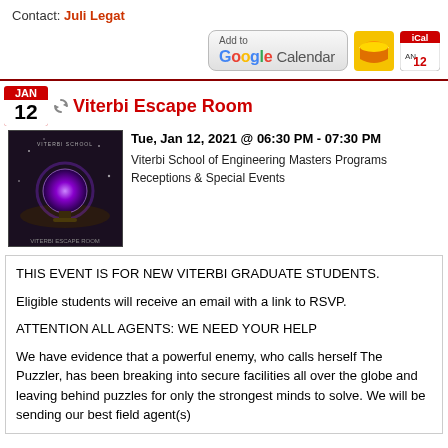Contact: Juli Legat
[Figure (screenshot): Add to Google Calendar button, Outlook envelope icon, and iCal calendar icon]
[Figure (photo): Viterbi Escape Room event promotional image with dark background and purple glowing orb]
Viterbi Escape Room
Tue, Jan 12, 2021 @ 06:30 PM - 07:30 PM
Viterbi School of Engineering Masters Programs
Receptions & Special Events
THIS EVENT IS FOR NEW VITERBI GRADUATE STUDENTS.

Eligible students will receive an email with a link to RSVP.

ATTENTION ALL AGENTS: WE NEED YOUR HELP

We have evidence that a powerful enemy, who calls herself The Puzzler, has been breaking into secure facilities all over the globe and leaving behind puzzles for only the strongest minds to solve. We will be sending our best field agent(s)